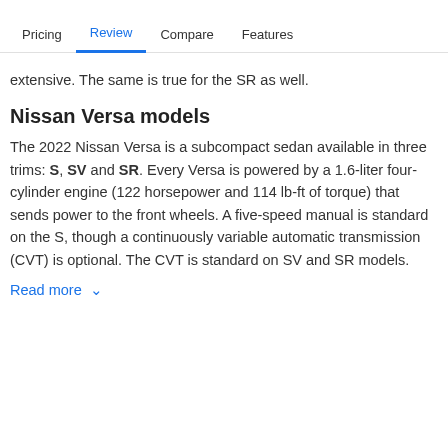Pricing | Review | Compare | Features
extensive. The same is true for the SR as well.
Nissan Versa models
The 2022 Nissan Versa is a subcompact sedan available in three trims: S, SV and SR. Every Versa is powered by a 1.6-liter four-cylinder engine (122 horsepower and 114 lb-ft of torque) that sends power to the front wheels. A five-speed manual is standard on the S, though a continuously variable automatic transmission (CVT) is optional. The CVT is standard on SV and SR models.
Read more